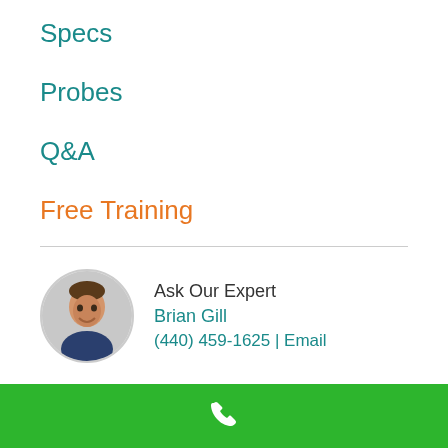Specs
Probes
Q&A
Free Training
Ask Our Expert
Brian Gill
(440) 459-1625 | Email
[Figure (other): Green footer bar with white phone icon]